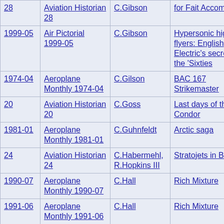| Issue | Publication | Author | Title | Notes |
| --- | --- | --- | --- | --- |
| 28 | Aviation Historian 28 | C.Gibson | for Fait Accompli..? |  |
| 1999-05 | Air Pictorial 1999-05 | C.Gibson | Hypersonic high-flyers: English Electric's secrets of the 'Sixties |  |
| 1974-04 | Aeroplane Monthly 1974-04 | C.Gilson | BAC 167 Strikemaster | Desig... analy... |
| 20 | Aviation Historian 20 | C.Goss | Last days of the Condor |  |
| 1981-01 | Aeroplane Monthly 1981-01 | C.Guhnfeldt | Arctic saga |  |
| 24 | Aviation Historian 24 | C.Habermehl, R.Hopkins III | Stratojets in Blighty |  |
| 1990-07 | Aeroplane Monthly 1990-07 | C.Hall | Rich Mixture |  |
| 1991-06 | Aeroplane Monthly 1991-06 | C.Hall | Rich Mixture |  |
| 1991- | Aeroplane... |  |  |  |